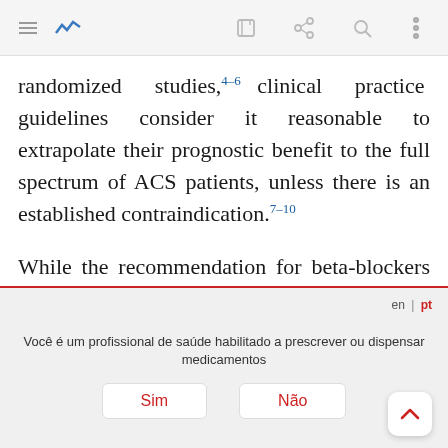randomized studies,4–6 clinical practice guidelines consider it reasonable to extrapolate their prognostic benefit to the full spectrum of ACS patients, unless there is an established contraindication.7–10
While the recommendation for beta-blockers after an ACS is based on solid scientific evidence, the type and dosage are not consensual. Clinical trials used high doses of beta-blockers to establish the efficacy of this medication,1,2,11 however such high doses are
Você é um profissional de saúde habilitado a prescrever ou dispensar medicamentos